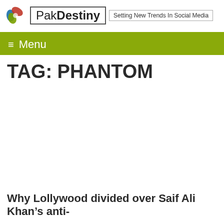PakDestiny — Setting New Trends In Social Media
≡ Menu
TAG: PHANTOM
Why Lollywood divided over Saif Ali Khan's anti-